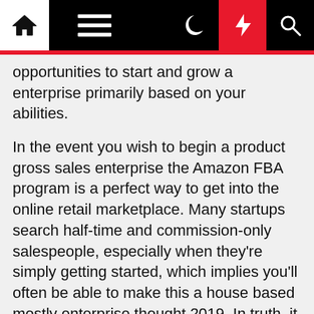Navigation bar with home, menu, moon, bolt, and search icons
opportunities to start and grow a enterprise primarily based on your abilities.
In the event you wish to begin a product gross sales enterprise the Amazon FBA program is a perfect way to get into the online retail marketplace. Many startups search half-time and commission-only salespeople, especially when they're simply getting started, which implies you'll often be able to make this a house based mostly enterprise thought 2019. In truth, it is even better for Feds if the child porn customers use dynamic DNS companies.
With this startup concept, the way you select to market your model and who you choose to focus on can open up a range of possibilities for you sooner or later. Typing in queries like: obtain funny